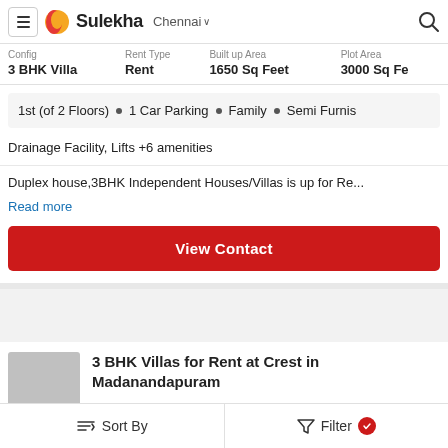Sulekha Chennai
| Config | Rent Type | Built up Area | Plot Area |
| --- | --- | --- | --- |
| 3 BHK Villa | Rent | 1650 Sq Feet | 3000 Sq Fe |
1st (of 2 Floors) • 1 Car Parking • Family • Semi Furnis
Drainage Facility, Lifts +6 amenities
Duplex house,3BHK Independent Houses/Villas is up for Re...
Read more
View Contact
3 BHK Villas for Rent at Crest in Madanandapuram
Sort By   Filter